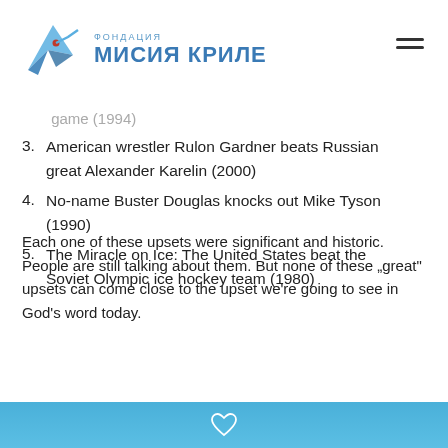Фондация Мисия Криле
game (1994)
3. American wrestler Rulon Gardner beats Russian great Alexander Karelin (2000)
4. No-name Buster Douglas knocks out Mike Tyson (1990)
5. The Miracle on Ice: The United States beat the Soviet Olympic ice hockey team (1980)
Each one of these upsets were significant and historic. People are still talking about them. But none of these “great” upsets can come close to the upset we’re going to see in God’s word today.